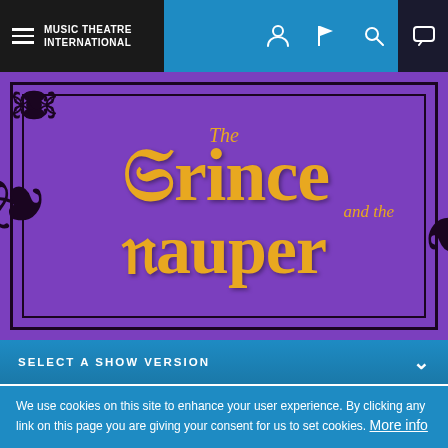MUSIC THEATRE INTERNATIONAL
[Figure (illustration): The Prince and the Pauper show title card on purple background with decorative black border scrollwork and gold gothic lettering]
SELECT A SHOW VERSION
FOLLOW  SHARE
The Prince and
We use cookies on this site to enhance your user experience. By clicking any link on this page you are giving your consent for us to set cookies. More info